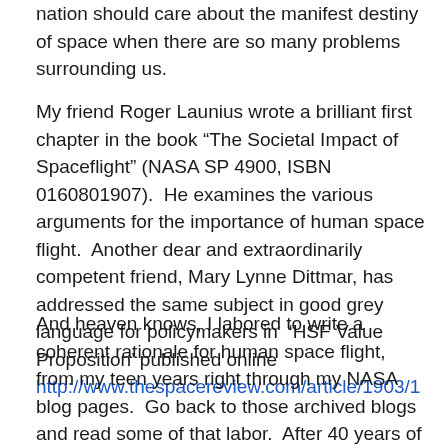nation should care about the manifest destiny of space when there are so many problems surrounding us.
My friend Roger Launius wrote a brilliant first chapter in the book “The Societal Impact of Spaceflight” (NASA SP 4900, ISBN 0160801907).  He examines the various arguments for the importance of human space flight.  Another dear and extraordinarily competent friend, Mary Lynne Dittmar, has addressed the same subject in good grey language for policymakers in ‘HSF Value Proposition’ published online http://www.thespacereview.com/article/1903/1
And heaven knows, I labored to write a coherent rationale for human space flight, from my teen years right through my NASA blog pages.  Go back to those archived blogs and read some of that labor.  After 40 years of effort, I'm a bit weary of posting words together to make the case...